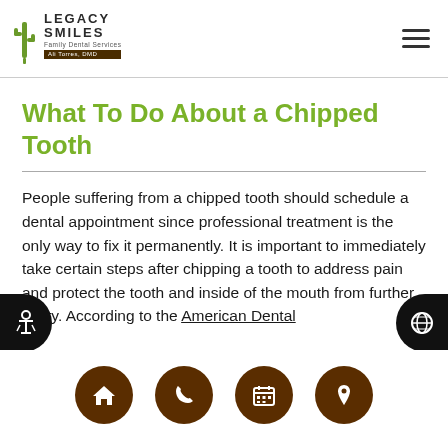Legacy Smiles — navigation header with logo and hamburger menu
What To Do About a Chipped Tooth
People suffering from a chipped tooth should schedule a dental appointment since professional treatment is the only way to fix it permanently. It is important to immediately take certain steps after chipping a tooth to address pain and protect the tooth and inside of the mouth from further injury. According to the American Dental
Bottom navigation bar: home, phone, calendar, location icons; accessibility icon left; globe icon right